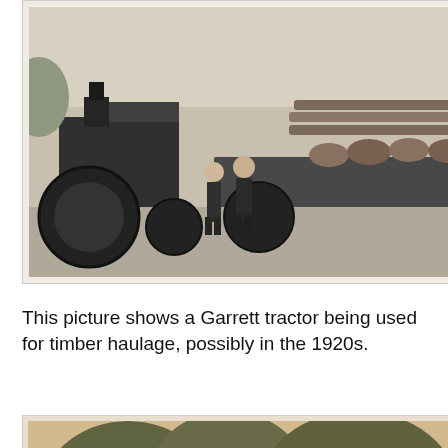[Figure (photo): Black and white photograph of a Garrett tractor being used for timber haulage, with two men standing in front, loaded with logs on a trailer, possibly 1920s.]
This picture shows a Garrett tractor being used for timber haulage, possibly in the 1920s.
[Figure (photo): Sepia photograph of a Taskers tractor hauling two loaded trailers stacked with timber planks, with smoke coming from the chimney, trees in background.]
This picture shows a Taskers tractor hauling two precarious looking trailers. The high load platform and rather spindly